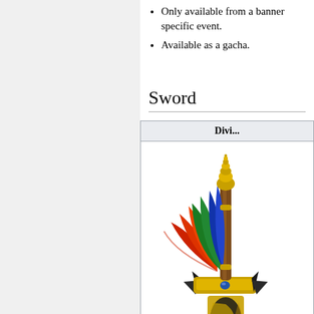Only available from a banner specific event.
Available as a gacha.
Sword
| Divi... |
| --- |
| [sword image] |
[Figure (illustration): A decorative fantasy sword with colorful red, green, and blue feathers fanning out from the crossguard, a brown handle, golden spiral tip, and an ornate golden and black blade with tribal designs.]